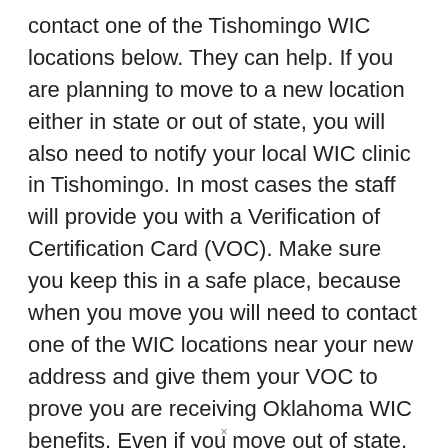contact one of the Tishomingo WIC locations below. They can help. If you are planning to move to a new location either in state or out of state, you will also need to notify your local WIC clinic in Tishomingo. In most cases the staff will provide you with a Verification of Certification Card (VOC). Make sure you keep this in a safe place, because when you move you will need to contact one of the WIC locations near your new address and give them your VOC to prove you are receiving Oklahoma WIC benefits. Even if you move out of state, this will allow you to continue to receive your benefits until they expire, at which point you will need to re-apply.
If you cannot find a location on this page, then try our WIC Clinic Search page. There you can search using your address to find a Tishomingo WIC location closes to you. If you still cannot find a location, or if you are unable to find answers to
×